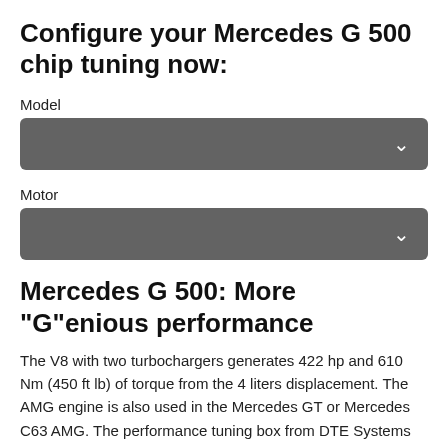Configure your Mercedes G 500 chip tuning now:
Model
Motor
Mercedes G 500: More "G"enious performance
The V8 with two turbochargers generates 422 hp and 610 Nm (450 ft lb) of torque from the 4 liters displacement. The AMG engine is also used in the Mercedes GT or Mercedes C63 AMG. The performance tuning box from DTE Systems adds